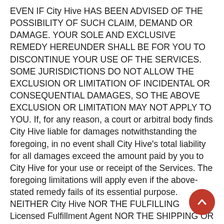EVEN IF City Hive HAS BEEN ADVISED OF THE POSSIBILITY OF SUCH CLAIM, DEMAND OR DAMAGE. YOUR SOLE AND EXCLUSIVE REMEDY HEREUNDER SHALL BE FOR YOU TO DISCONTINUE YOUR USE OF THE SERVICES. SOME JURISDICTIONS DO NOT ALLOW THE EXCLUSION OR LIMITATION OF INCIDENTAL OR CONSEQUENTIAL DAMAGES, SO THE ABOVE EXCLUSION OR LIMITATION MAY NOT APPLY TO YOU. If, for any reason, a court or arbitral body finds City Hive liable for damages notwithstanding the foregoing, in no event shall City Hive's total liability for all damages exceed the amount paid by you to City Hive for your use or receipt of the Services. The foregoing limitations will apply even if the above-stated remedy fails of its essential purpose. NEITHER City Hive NOR THE FULFILLING Licensed Fulfillment Agent NOR THE SHIPPING OR DELIVERY COMPANY USED BY THE Licensed Fulfillment Agent SHALL BE LIABLE FOR ANY